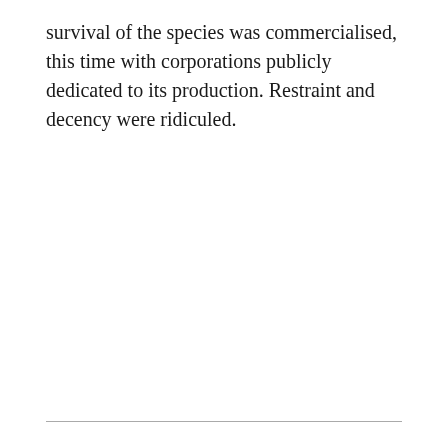survival of the species was commercialised, this time with corporations publicly dedicated to its production. Restraint and decency were ridiculed.